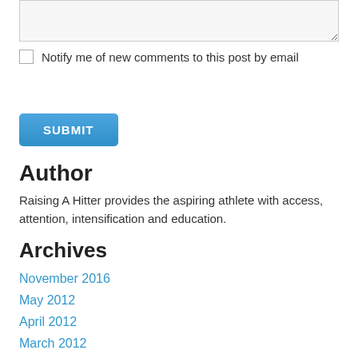[Figure (screenshot): A textarea input box with a light gray background and resize handle in the bottom right corner]
Notify me of new comments to this post by email
SUBMIT
Author
Raising A Hitter provides the aspiring athlete with access, attention, intensification and education.
Archives
November 2016
May 2012
April 2012
March 2012
January 2012
November 2011